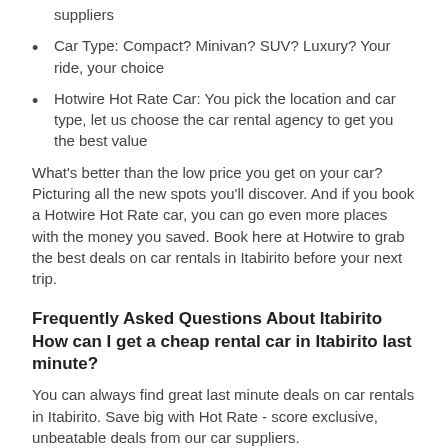suppliers
Car Type: Compact? Minivan? SUV? Luxury? Your ride, your choice
Hotwire Hot Rate Car: You pick the location and car type, let us choose the car rental agency to get you the best value
What's better than the low price you get on your car? Picturing all the new spots you'll discover. And if you book a Hotwire Hot Rate car, you can go even more places with the money you saved. Book here at Hotwire to grab the best deals on car rentals in Itabirito before your next trip.
Frequently Asked Questions About Itabirito
How can I get a cheap rental car in Itabirito last minute?
You can always find great last minute deals on car rentals in Itabirito. Save big with Hot Rate - score exclusive, unbeatable deals from our car suppliers.
Which car rental companies are at the Itabirito airport?
Itabirito offers a variety of car rental companies. Add your favorite airport to your search to see all available car companies.